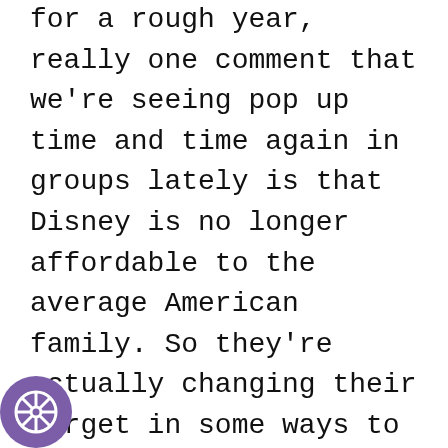for a rough year, really one comment that we're seeing pop up time and time again in groups lately is that Disney is no longer affordable to the average American family. So they're actually changing their target in some ways to go after more fluent customer base who will spend more on a vacation. And you know, they're saying like, well, it's going to be like less people are going to come to Disney. Well, maybe, but that's actually a good thing in their eyes because they're making, you know, maybe the same amount of money servicing fewer